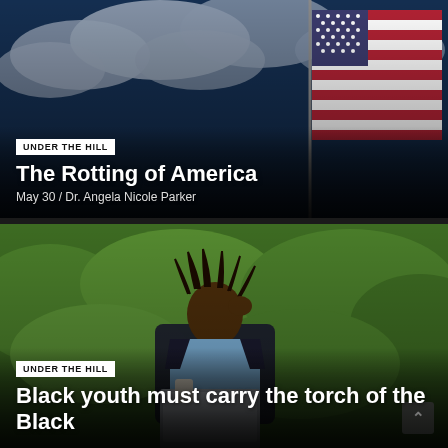[Figure (photo): American flag waving against a dramatic dark blue cloudy sky. The flag is positioned on the right side of the image.]
UNDER THE HILL
The Rotting of America
May 30 / Dr. Angela Nicole Parker
[Figure (photo): A young Black man with dreadlocks wearing a suit jacket and light blue shirt, sitting outdoors working on a laptop, holding a coffee cup, hand on his head in a stressed or thoughtful pose. Background shows green foliage.]
UNDER THE HILL
Black youth must carry the torch of the Black